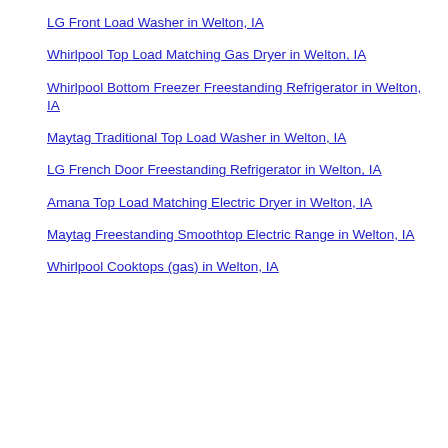Whirlpool Top Load Matching Electric Dryer in Welton, IA
LG Front Load Washer in Welton, IA
Whirlpool Top Load Matching Gas Dryer in Welton, IA
Whirlpool Bottom Freezer Freestanding Refrigerator in Welton, IA
Maytag Traditional Top Load Washer in Welton, IA
LG French Door Freestanding Refrigerator in Welton, IA
Amana Top Load Matching Electric Dryer in Welton, IA
Maytag Freestanding Smoothtop Electric Range in Welton, IA
Whirlpool Cooktops (gas) in Welton, IA